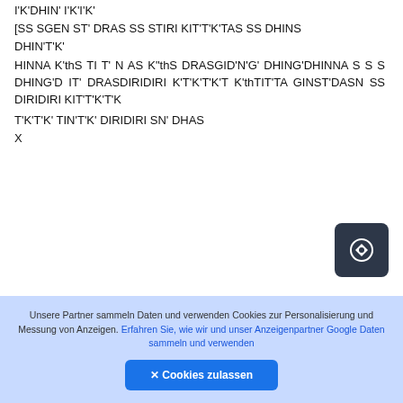I'K'DHIN' I'K'I'K'
[SS SGEN ST' DRAS SS STIRI KIT'T'K'TAS SS DHINS
DHIN'T'K'
HINNA K'thS TI T' N AS K"thS DRASGID'N'G' DHING'DHINNA S S S DHING'D IT' DRASDIRIDIRI K'T'K'T'K'T K'thTIT'TA GINST'DASN SS DIRIDIRI KIT'T'K'T'K
T'K'T'K' TIN'T'K' DIRIDIRI SN' DHAS
X
Unsere Partner sammeln Daten und verwenden Cookies zur Personalisierung und Messung von Anzeigen. Erfahren Sie, wie wir und unser Anzeigenpartner Google Daten sammeln und verwenden
✕ Cookies zulassen